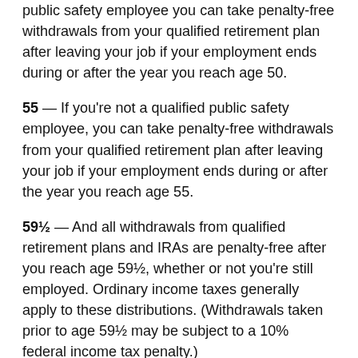public safety employee you can take penalty-free withdrawals from your qualified retirement plan after leaving your job if your employment ends during or after the year you reach age 50.
55 — If you're not a qualified public safety employee, you can take penalty-free withdrawals from your qualified retirement plan after leaving your job if your employment ends during or after the year you reach age 55.
59½ — And all withdrawals from qualified retirement plans and IRAs are penalty-free after you reach age 59½, whether or not you're still employed. Ordinary income taxes generally apply to these distributions. (Withdrawals taken prior to age 59½ may be subject to a 10% federal income tax penalty.)
62 — You are eligible to start collecting Social Security benefits, although your benefit will be reduced by up to 30%. To receive full benefits, you must wait until "full retirement age," which ranges from 66 to 67